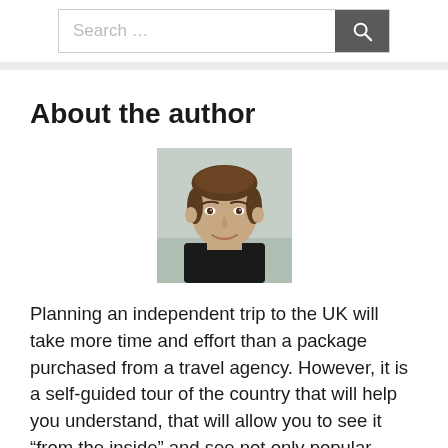Search …
About the author
[Figure (photo): Headshot of a young man with short brown hair, wearing a black top, smiling, with a light blurred background.]
Planning an independent trip to the UK will take more time and effort than a package purchased from a travel agency. However, it is a self-guided tour of the country that will help you understand, that will allow you to see it “from the inside” and see not only popular tourist sites, but also other